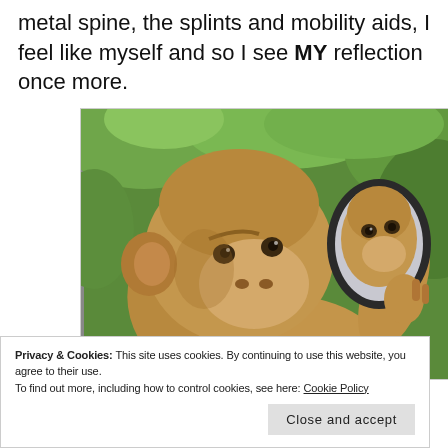metal spine, the splints and mobility aids, I feel like myself and so I see MY reflection once more.
[Figure (photo): A monkey looking at its reflection in a handheld mirror, set against a green blurred background.]
Privacy & Cookies: This site uses cookies. By continuing to use this website, you agree to their use.
To find out more, including how to control cookies, see here: Cookie Policy
Close and accept